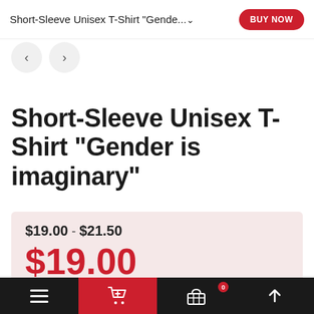Short-Sleeve Unisex T-Shirt "Gende..." BUY NOW
Short-Sleeve Unisex T-Shirt "Gender is imaginary"
$19.00 - $21.50
$19.00
Available Options
Color
Navigation bar with menu, cart, basket (0), and up arrow